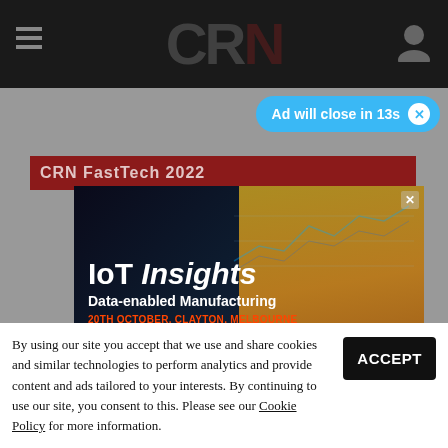[Figure (screenshot): CRN website navigation bar with hamburger menu, CRN logo, and user icon on dark background]
Ad will close in 13s
[Figure (photo): IoT Insights advertisement overlay showing a woman in a hard hat and hi-vis vest in a manufacturing environment. Text: IoT Insights, Data-enabled Manufacturing, 20TH OCTOBER, CLAYTON, MELBOURNE, Join Bosch Australia & IoTAA, with Bosch and IoTA logos]
By using our site you accept that we use and share cookies and similar technologies to perform analytics and provide content and ads tailored to your interests. By continuing to use our site, you consent to this. Please see our Cookie Policy for more information.
ACCEPT